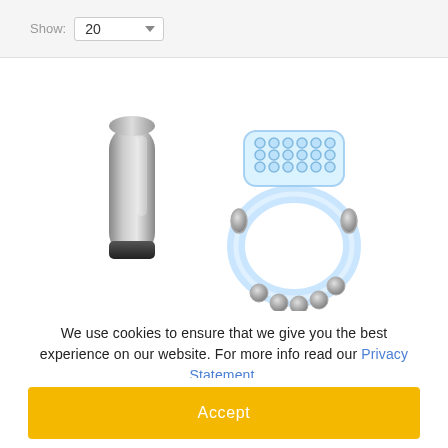Show: 20
[Figure (photo): Product photo showing a silver metallic bullet vibrator next to a clear silicone cock ring with beads and stimulation nubs]
We use cookies to ensure that we give you the best experience on our website. For more info read our Privacy Statement.
Accept